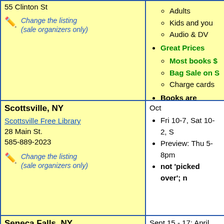55 Clinton St
Adults
Kids and you
Audio & DVD
Great Prices
Most books $
Bag Sale on S
Charge cards
Books are sorted in
Masks suggested bu
Get ready for holid
Change the listing (sale organizers only)
Scottsville, NY
Oct
Scottsville Free Library
28 Main St.
585-889-2023
Fri 10-7, Sat 10-2, S
Preview: Thu 5-8pm
not 'picked over'; n
Change the listing (sale organizers only)
Seneca Falls, NY
Sept 15 - 17; April
Seneca Falls Library
47 Cayuga St
315-568-8265
Thu, Fri 10-8pm, Sa
4,000 books; 95% d less